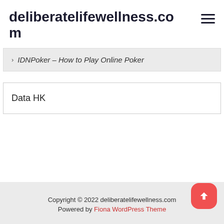deliberatelifewellness.com
IDNPoker – How to Play Online Poker
Data HK
Copyright © 2022 deliberatelifewellness.com | Powered by Fiona WordPress Theme